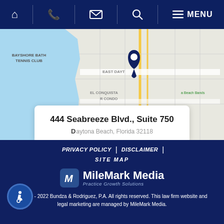Home | Phone | Email | Search | MENU
[Figure (map): Google Maps screenshot showing Daytona Beach area including Bayshore Bath Tennis Club, East Dayt[ona], El Conquistador Condo labels, with a map pin marker and a popup card showing '444 Seabreeze Blvd., Suite 750']
444 Seabreeze Blvd., Suite 750
PRIVACY POLICY | DISCLAIMER | SITE MAP
[Figure (logo): MileMark Media logo with M icon and text 'MileMark Media - Practice Growth Solutions']
© 2020 - 2022 Bundza & Rodriguez, P.A. All rights reserved. This law firm website and legal marketing are managed by MileMark Media.